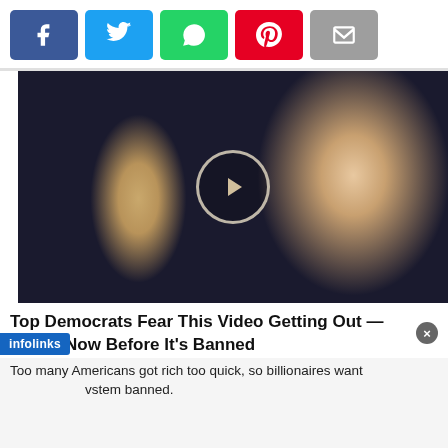[Figure (other): Social media share buttons: Facebook (blue), Twitter (light blue), WhatsApp (green), Pinterest (red), Email (grey)]
[Figure (photo): Photo of two people with a video play button overlay in the center]
Top Democrats Fear This Video Getting Out — Watch Now Before It's Banned
Too many Americans got rich too quick, so billionaires want this system banned.